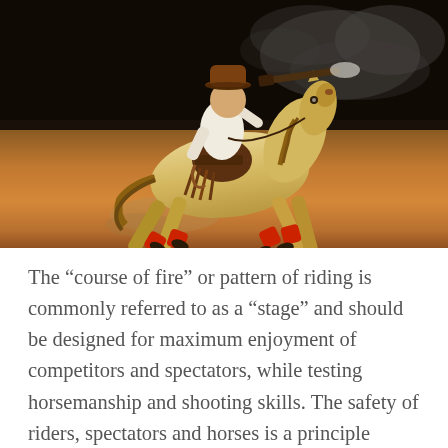[Figure (photo): A cowboy riding a pale golden horse at full gallop in an arena, holding a rifle aimed to the side. The horse has red leg wraps. Smoke or dust is visible in the dark background. The arena floor is sandy.]
The “course of fire” or pattern of riding is commonly referred to as a “stage” and should be designed for maximum enjoyment of competitors and spectators, while testing horsemanship and shooting skills. The safety of riders, spectators and horses is a principle concern. The primary purpose